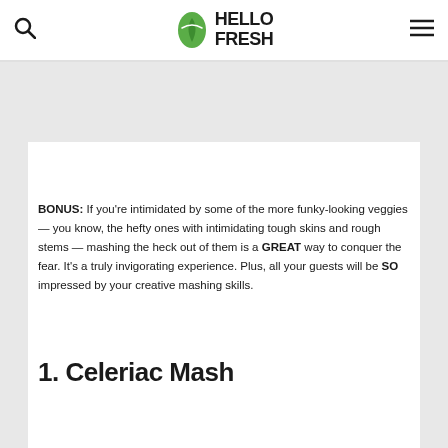[Figure (logo): HelloFresh logo with green leaf icon and bold dark text reading HELLO FRESH]
BONUS: If you're intimidated by some of the more funky-looking veggies — you know, the hefty ones with intimidating tough skins and rough stems — mashing the heck out of them is a GREAT way to conquer the fear. It's a truly invigorating experience. Plus, all your guests will be SO impressed by your creative mashing skills.
1. Celeriac Mash